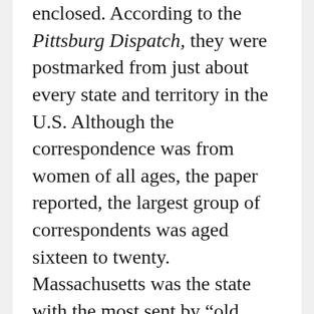enclosed. According to the Pittsburg Dispatch, they were postmarked from just about every state and territory in the U.S. Although the correspondence was from women of all ages, the paper reported, the largest group of correspondents was aged sixteen to twenty. Massachusetts was the state with the most sent by “old maids”–a category that at the time included women thirty-five to forty-five. Babcock told the Chicago Tribune that he even